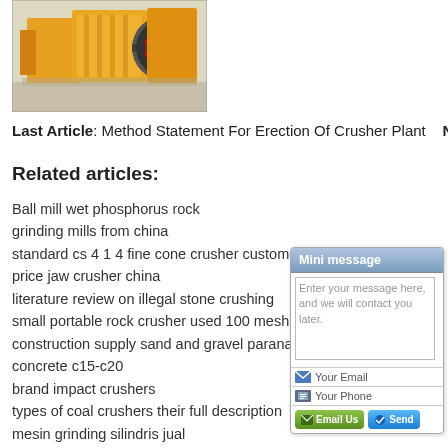[Figure (photo): Industrial yellow crusher plant machinery with a large circular pulley/wheel component, photographed indoors on a concrete floor.]
Last Article: Method Statement For Erection Of Crusher Plant   Next A
Related articles:
Ball mill wet phosphorus rock
grinding mills from china
standard cs 4 1 4 fine cone crusher customer case
price jaw crusher china
literature review on illegal stone crushing
small portable rock crusher used 100 mesh
construction supply sand and gravel paranad
concrete c15-c20
brand impact crushers
types of coal crushers their full description
mesin grinding silindris jual
spart part cone crusher cs 3 ft
iron ore crusher conveyor system